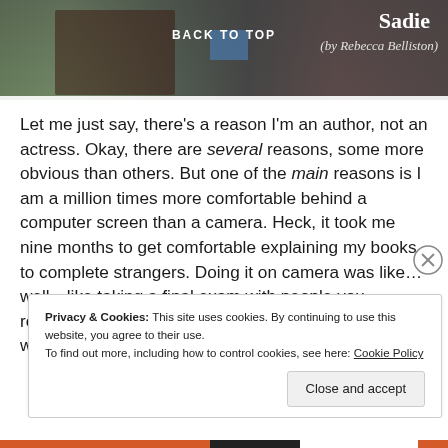[Figure (screenshot): Website header image showing a person in a reddish shirt against a blurred greenish background, with 'BACK TO TOP' text centered and 'Sadie (by Rebecca Belliston)' text on the right]
Let me just say, there's a reason I'm an author, not an actress. Okay, there are several reasons, some more obvious than others. But one of the main reasons is I am a million times more comfortable behind a computer screen than a camera. Heck, it took me nine months to get comfortable explaining my books to complete strangers. Doing it on camera was like…well…like taking a final exam with people you respect, adore, and want to speak to you again watching you the whole time.
Privacy & Cookies: This site uses cookies. By continuing to use this website, you agree to their use.
To find out more, including how to control cookies, see here: Cookie Policy
Close and accept